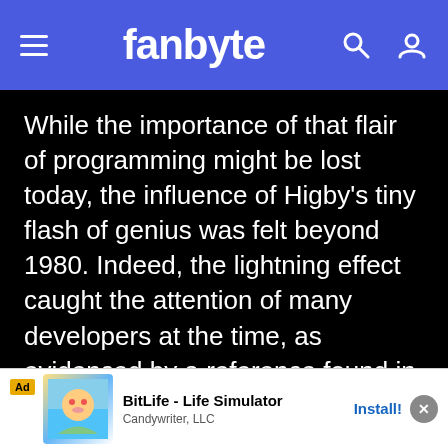fanbyte
While the importance of that flair of programming might be lost today, the influence of Higby's tiny flash of genius was felt beyond 1980. Indeed, the lightning effect caught the attention of many developers at the time, as evidenced by a reference found in a series of mystery books published in the mid 80s, The Bytes Brothers.
Number three of the series, Enter The Evidence, features a short scene with a young girl in front of the screen, messing
[Figure (screenshot): Ad banner: BitLife - Life Simulator by Candywriter, LLC with Install button]